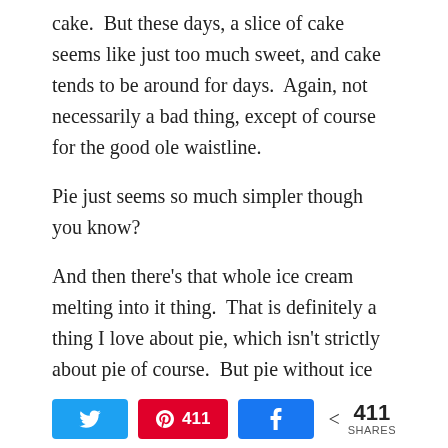cake.  But these days, a slice of cake seems like just too much sweet, and cake tends to be around for days.  Again, not necessarily a bad thing, except of course for the good ole waistline.
Pie just seems so much simpler though you know?
And then there's that whole ice cream melting into it thing.  That is definitely a thing I love about pie, which isn't strictly about pie of course.  But pie without ice cream is kind of like Elvis without Blue Suede Shoes.  You find yourself thinking – what's